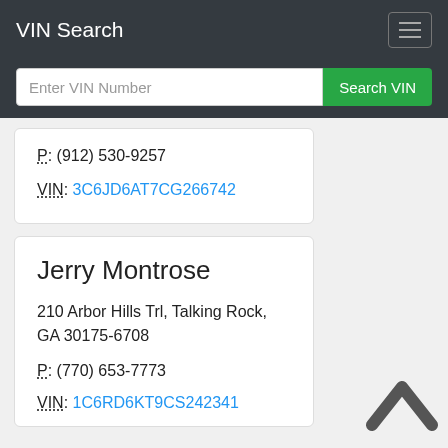VIN Search
P: (912) 530-9257
VIN: 3C6JD6AT7CG266742
Jerry Montrose
210 Arbor Hills Trl, Talking Rock, GA 30175-6708
P: (770) 653-7773
VIN: 1C6RD6KT9CS242341